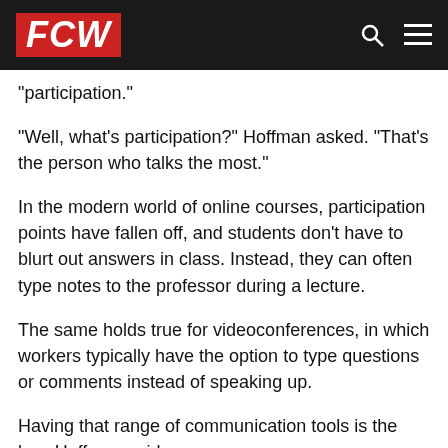FCW
"participation."
"Well, what's participation?" Hoffman asked. "That's the person who talks the most."
In the modern world of online courses, participation points have fallen off, and students don't have to blurt out answers in class. Instead, they can often type notes to the professor during a lecture.
The same holds true for videoconferences, in which workers typically have the option to type questions or comments instead of speaking up.
Having that range of communication tools is the key, Hoffman said.
"You need to make sure you're hearing from every individual," he